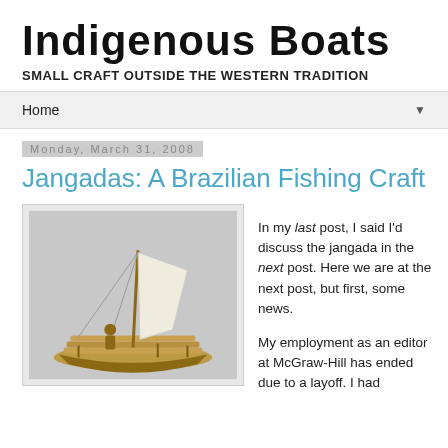Indigenous Boats
SMALL CRAFT OUTSIDE THE WESTERN TRADITION
Home ▼
Monday, March 31, 2008
Jangadas: A Brazilian Fishing Craft
[Figure (photo): Model of a jangada Brazilian fishing raft with a sail, wooden frame, and small figure, shown against a light gray background]
In my last post, I said I'd discuss the jangada in the next post. Here we are at the next post, but first, some news.

My employment as an editor at McGraw-Hill has ended due to a layoff. I had